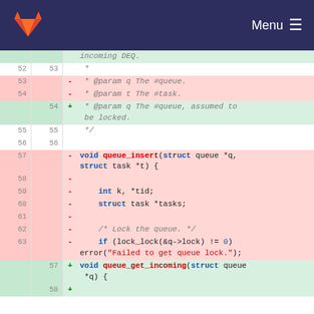GitLab — Menu
[Figure (screenshot): Code diff view showing changes to queue_insert and queue_get_incoming functions in C, with removed lines (red) and added lines (green), line numbers on left.]